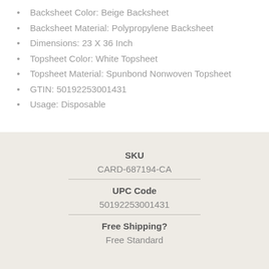Backsheet Color: Beige Backsheet
Backsheet Material: Polypropylene Backsheet
Dimensions: 23 X 36 Inch
Topsheet Color: White Topsheet
Topsheet Material: Spunbond Nonwoven Topsheet
GTIN: 50192253001431
Usage: Disposable
| SKU | UPC Code | Free Shipping? |
| --- | --- | --- |
| CARD-687194-CA | 50192253001431 | Free Standard |